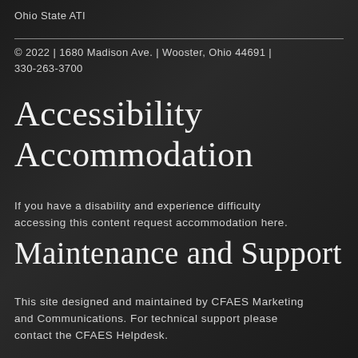Ohio State ATI
© 2022 | 1680 Madison Ave. | Wooster, Ohio 44691 | 330-263-3700
Accessibility Accommodation
If you have a disability and experience difficulty accessing this content request accommodation here.
Maintenance and Support
This site designed and maintained by CFAES Marketing and Communications. For technical support please contact the CFAES Helpdesk.